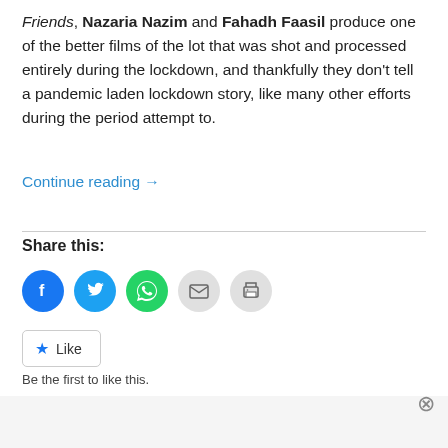Friends, Nazaria Nazim and Fahadh Faasil produce one of the better films of the lot that was shot and processed entirely during the lockdown, and thankfully they don't tell a pandemic laden lockdown story, like many other efforts during the period attempt to.
Continue reading →
Share this:
[Figure (other): Social share icons: Facebook (blue circle), Twitter (blue circle), WhatsApp (green circle), Email (grey circle), Print (grey circle)]
[Figure (other): Like button widget with star icon and text 'Like']
Be the first to like this.
Advertisements
[Figure (other): WordPress VIP advertisement banner with 'Learn more →' button on gradient background]